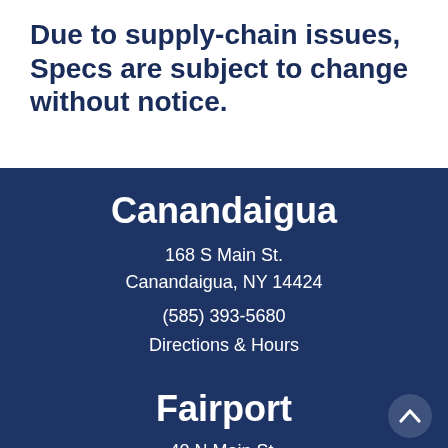Due to supply-chain issues, Specs are subject to change without notice.
Canandaigua
168 S Main St.
Canandaigua, NY 14424
(585) 393-5680
Directions & Hours
Fairport
40 N Main St.
Fairport, NY 1450...